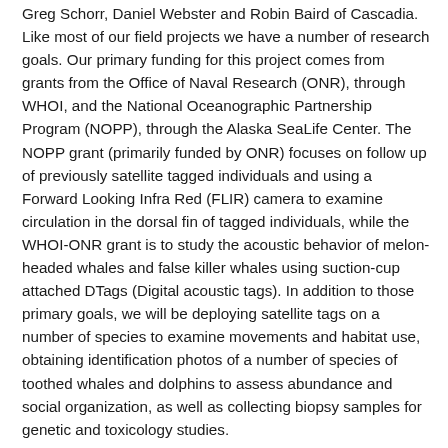Greg Schorr, Daniel Webster and Robin Baird of Cascadia. Like most of our field projects we have a number of research goals. Our primary funding for this project comes from grants from the Office of Naval Research (ONR), through WHOI, and the National Oceanographic Partnership Program (NOPP), through the Alaska SeaLife Center. The NOPP grant (primarily funded by ONR) focuses on follow up of previously satellite tagged individuals and using a Forward Looking Infra Red (FLIR) camera to examine circulation in the dorsal fin of tagged individuals, while the WHOI-ONR grant is to study the acoustic behavior of melon-headed whales and false killer whales using suction-cup attached DTags (Digital acoustic tags). In addition to those primary goals, we will be deploying satellite tags on a number of species to examine movements and habitat use, obtaining identification photos of a number of species of toothed whales and dolphins to assess abundance and social organization, as well as collecting biopsy samples for genetic and toxicology studies.